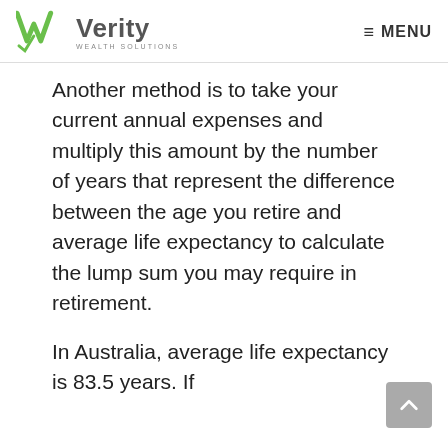Verity Wealth Solutions — MENU
Another method is to take your current annual expenses and multiply this amount by the number of years that represent the difference between the age you retire and average life expectancy to calculate the lump sum you may require in retirement.
In Australia, average life expectancy is 83.5 years. If